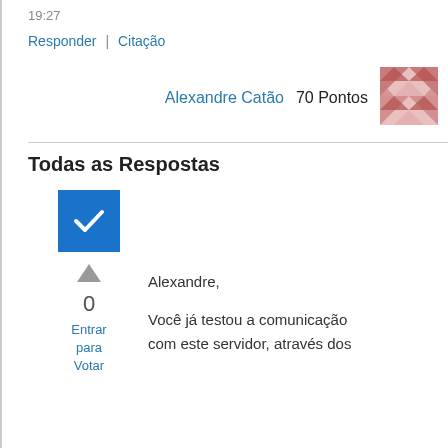19:27
Responder | Citação
[Figure (illustration): User avatar - pink/mauve geometric pattern square icon]
Alexandre Catão   70 Pontos
Todas as Respostas
[Figure (other): Blue checkbox with white checkmark icon indicating accepted answer]
[Figure (other): Gray upward triangle vote arrow]
0
Entrar para Votar
Alexandre,
Você já testou a comunicação com este servidor, através dos